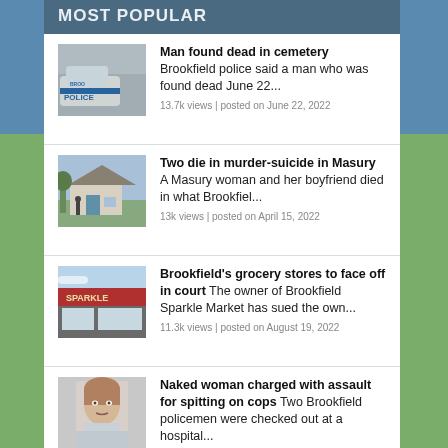MOST POPULAR
Man found dead in cemetery Brookfield police said a man who was found dead June 22... 13.7k views | posted on June 22, 2022
Two die in murder-suicide in Masury A Masury woman and her boyfriend died in what Brookfiel... 13k views | posted on April 15, 2022
Brookfield's grocery stores to face off in court The owner of Brookfield Sparkle Market has sued the own... 11.3k views | posted on August 19, 2022
Naked woman charged with assault for spitting on cops Two Brookfield policemen were checked out at a hospital... 10.9k views | posted on September 12, 2018